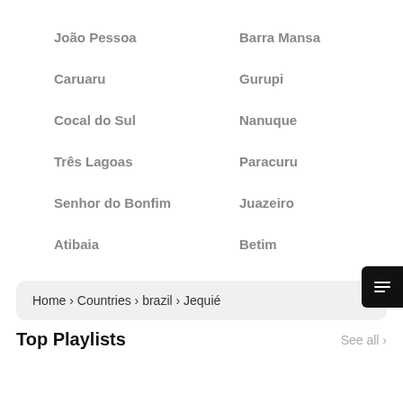João Pessoa
Barra Mansa
Caruaru
Gurupi
Cocal do Sul
Nanuque
Três Lagoas
Paracuru
Senhor do Bonfim
Juazeiro
Atibaia
Betim
Home › Countries › brazil › Jequié
Top Playlists
See all ›